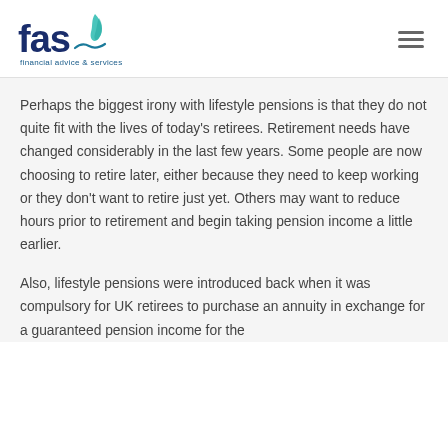[Figure (logo): FAS Financial Advice & Services logo with teal wave/leaf graphic and dark navy text]
Perhaps the biggest irony with lifestyle pensions is that they do not quite fit with the lives of today's retirees. Retirement needs have changed considerably in the last few years. Some people are now choosing to retire later, either because they need to keep working or they don't want to retire just yet. Others may want to reduce hours prior to retirement and begin taking pension income a little earlier.
Also, lifestyle pensions were introduced back when it was compulsory for UK retirees to purchase an annuity in exchange for a guaranteed pension income for the